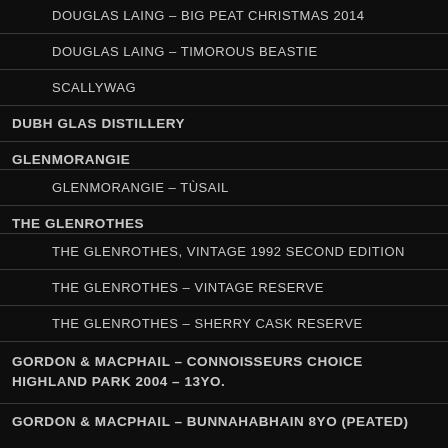DOUGLAS LAING – BIG PEAT CHRISTMAS 2014
DOUGLAS LAING – TIMOROUS BEASTIE
SCALLYWAG
DUBH GLAS DISTILLERY
GLENMORANGIE
GLENMORANGIE – TÙSAIL
THE GLENROTHES
THE GLENROTHES, VINTAGE 1992 SECOND EDITION
THE GLENROTHES – VINTAGE RESERVE
THE GLENROTHES – SHERRY CASK RESERVE
GORDON & MACPHAIL – CONNOISSEURS CHOICE HIGHLAND PARK 2004 – 13YO.
GORDON & MACPHAIL – BUNNAHABHAIN 8YO (PEATED)